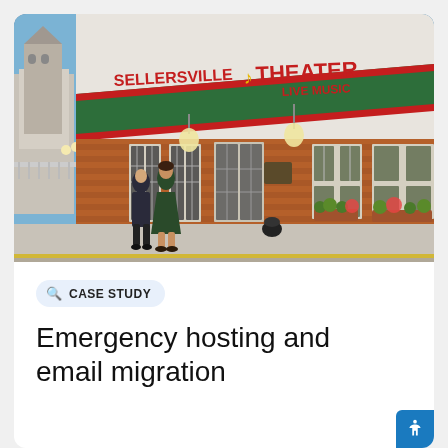[Figure (photo): Exterior photo of Sellersville Theater, a venue with brick facade, green awning with red and white trim, large red letters reading 'SELLERSVILLE THEATER LIVE MUSIC', globe pendant lights, French doors, and flowering window boxes. Two people walking in front.]
CASE STUDY
Emergency hosting and email migration